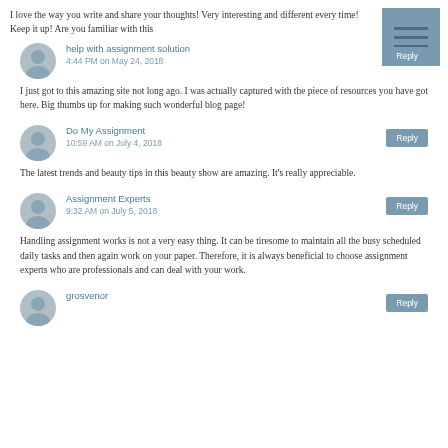I love the way you write and share your thoughts! Very interesting and different every time! Keep it up! Are you familiar with this
[Figure (other): Hamburger menu icon button (three horizontal lines) on a steel blue background]
help with assignment solution
4:44 PM on May 24, 2018
I just got to this amazing site not long ago. I was actually captured with the piece of resources you have got here. Big thumbs up for making such wonderful blog page!
Do My Assignment
10:59 AM on July 4, 2018
The latest trends and beauty tips in this beauty show are amazing. It's really appreciable.
Assignment Experts
9:32 AM on July 5, 2018
Handling assignment works is not a very easy thing. It can be tiresome to maintain all the busy scheduled daily tasks and then again work on your paper. Therefore, it is always beneficial to choose assignment experts who are professionals and can deal with your work.
grosvenor